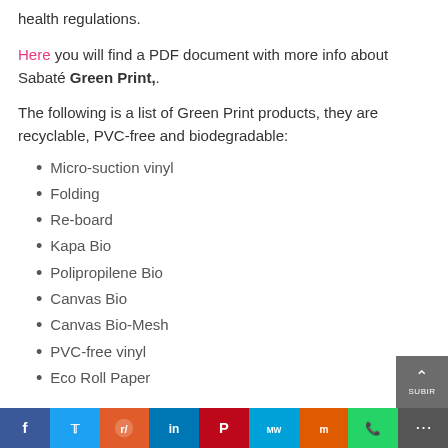health regulations.
Here you will find a PDF document with more info about Sabaté Green Print,.
The following is a list of Green Print products, they are recyclable, PVC-free and biodegradable:
Micro-suction vinyl
Folding
Re-board
Kapa Bio
Polipropilene Bio
Canvas Bio
Canvas Bio-Mesh
PVC-free vinyl
Eco Roll Paper
Social share bar: Facebook, Twitter, Reddit, LinkedIn, Pinterest, MeWe, Mix, WhatsApp, More